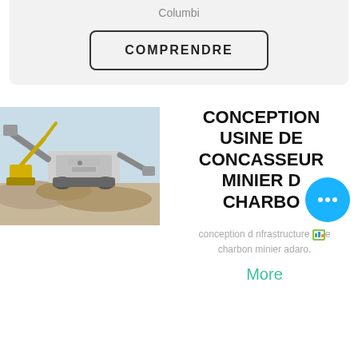Columbi
COMPRENDRE
[Figure (photo): Mining crusher equipment at a quarry site with an excavator in the background]
CONCEPTION USINE DE CONCASSEUR MINIER DE CHARBON
conception d nfrastructure e charbon minier adaro.
More